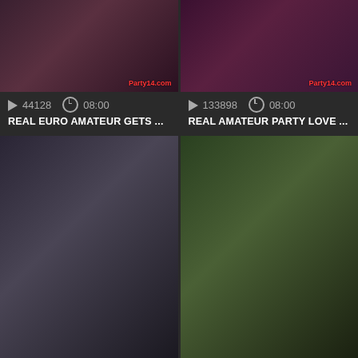[Figure (screenshot): Video thumbnail grid showing adult video listings with thumbnails, view counts, durations, and titles]
44128   08:00
REAL EURO AMATEUR GETS ...
133898   08:00
REAL AMATEUR PARTY LOVE ...
389400   04:58
SASHA ALEXANDER, BOJAN...
17686   14:43
CRUEL REELL - JOIN MY FAN ...